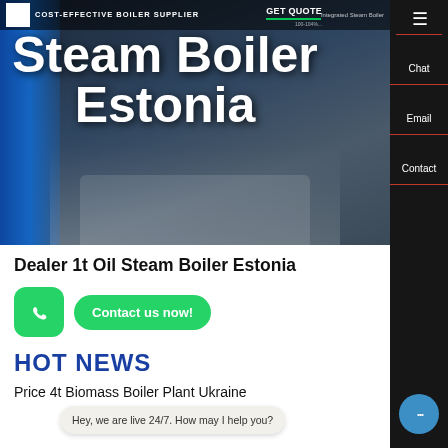[Figure (screenshot): Hero banner of boiler supplier website showing industrial boilers against dark background with blue accent on left]
COST-EFFECTIVE BOILER SUPPLIER
Steam Boiler Estonia
Dealer 1t Oil Steam Boiler Estonia
HOT NEWS
Hey, we are live 24/7. How may I help you?
Price 4t Biomass Boiler Plant Ukraine
Contact us now!
Chat
Email
Contact